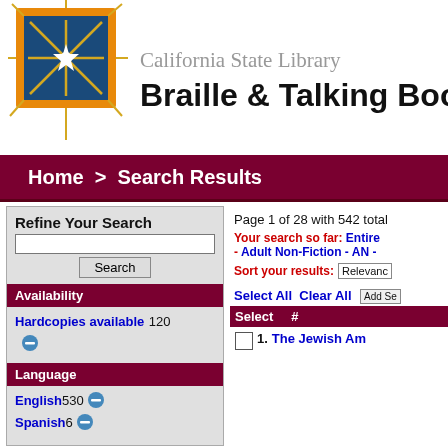[Figure (logo): California State Library star/compass logo in blue and orange]
California State Library Braille & Talking Boo
Home  >  Search Results
Refine Your Search
Page 1 of 28 with 542 total
Your search so far: Entire - Adult Non-Fiction - AN -
Sort your results: Relevance
Availability
Hardcopies available 120
Language
English 530
Spanish 6
Select All Clear All
| Select | # |
| --- | --- |
| ☐ 1. | The Jewish Am... |
The Jewish Am